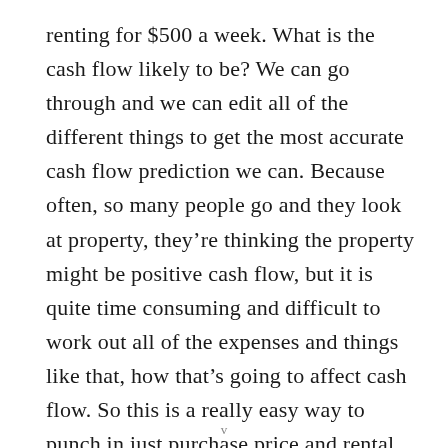renting for $500 a week. What is the cash flow likely to be? We can go through and we can edit all of the different things to get the most accurate cash flow prediction we can. Because often, so many people go and they look at property, they're thinking the property might be positive cash flow, but it is quite time consuming and difficult to work out all of the expenses and things like that, how that's going to affect cash flow. So this is a really easy way to punch in just purchase price and rental income and get a quick estimate of whether
v